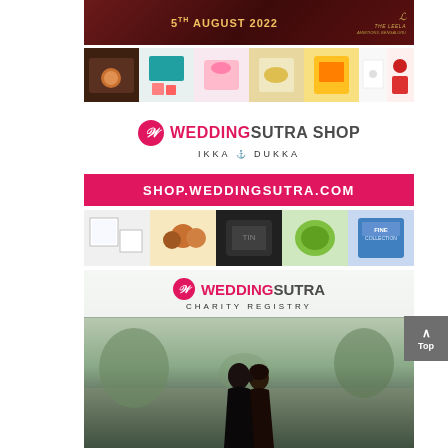[Figure (photo): Dark maroon/brown banner with golden text '5TH AUGUST 2022' and The Leela hotel logo on the right]
[Figure (photo): Strip of gift/product photos: wooden tray, teal box, pink items, jewelry box, yellow items, white card, red accessories]
[Figure (logo): WeddingSutra Shop logo with pink circular W icon, 'WEDDING' in pink and 'SUTRA SHOP' in dark, with 'IKKA DUKKA' tagline below]
[Figure (infographic): Hot pink banner with white bold text 'SHOP.WEDDINGSUTRA.COM']
[Figure (photo): Strip of product photos: white boxes, caramel apples, travel tin, preserved foods, bowls, blue tin]
[Figure (photo): WeddingSutra Charity Registry banner with logo and couple embracing in outdoor background]
[Figure (other): Gray 'Top' scroll-to-top button with upward arrow]